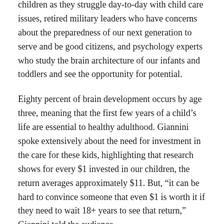children as they struggle day-to-day with child care issues, retired military leaders who have concerns about the preparedness of our next generation to serve and be good citizens, and psychology experts who study the brain architecture of our infants and toddlers and see the opportunity for potential.
Eighty percent of brain development occurs by age three, meaning that the first few years of a child's life are essential to healthy adulthood. Giannini spoke extensively about the need for investment in the care for these kids, highlighting that research shows for every $1 invested in our children, the return averages approximately $11. But, “it can be hard to convince someone that even $1 is worth it if they need to wait 18+ years to see that return,” Giannini told the audience.
Dr. Jolly also spoke about the need for funding, emphasizing that